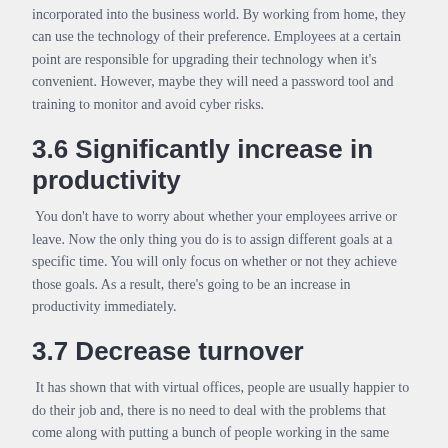incorporated into the business world. By working from home, they can use the technology of their preference. Employees at a certain point are responsible for upgrading their technology when it's convenient. However, maybe they will need a password tool and training to monitor and avoid cyber risks.
3.6 Significantly increase in productivity
You don't have to worry about whether your employees arrive or leave. Now the only thing you do is to assign different goals at a specific time. You will only focus on whether or not they achieve those goals. As a result, there's going to be an increase in productivity immediately.
3.7 Decrease turnover
It has shown that with virtual offices, people are usually happier to do their job and, there is no need to deal with the problems that come along with putting a bunch of people working in the same space.